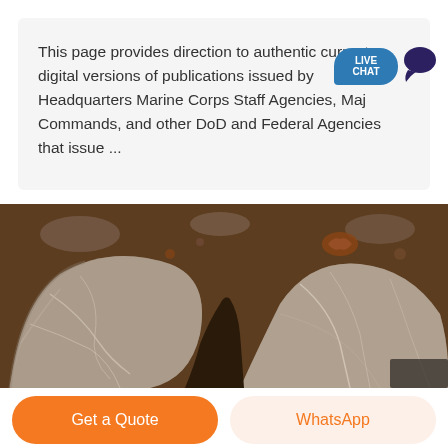This page provides direction to authentic current digital versions of publications issued by Headquarters Marine Corps Staff Agencies, Major Commands, and other DoD and Federal Agencies that issue ...
[Figure (photo): Close-up photograph of two large rocks or boulders on a dirt/rubble ground, showing grey stone with veining, with soil and debris visible around and between them.]